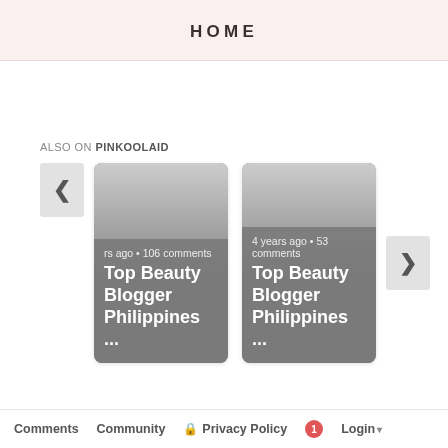HOME
ALSO ON PINKOOLAID
[Figure (screenshot): Card 1: Top Beauty Blogger Philippines ... — years ago • 106 comments]
[Figure (screenshot): Card 2: Top Beauty Blogger Philippines ... — 4 years ago • 53 comments]
Comments   Community   Privacy Policy   1   Login